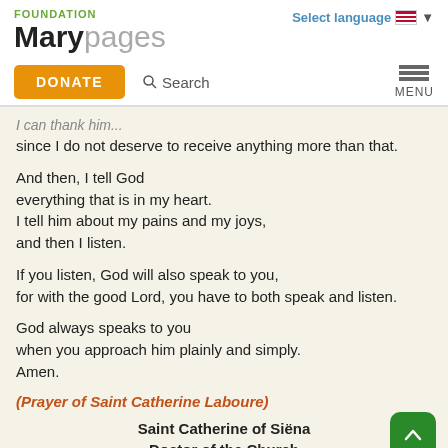FOUNDATION Marypages | Select language
I can thank him...
since I do not deserve to receive anything more than that.
And then, I tell God
everything that is in my heart.
I tell him about my pains and my joys,
and then I listen.
If you listen, God will also speak to you,
for with the good Lord, you have to both speak and listen.
God always speaks to you
when you approach him plainly and simply.
Amen.
(Prayer of Saint Catherine Laboure)
Saint Catherine of Siëna
Doctor of the Church